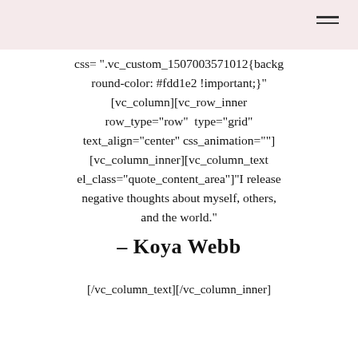css= ".vc_custom_1507003571012{background-color: #fdd1e2 !important;}" [vc_column][vc_row_inner row_type="row" type="grid" text_align="center" css_animation=""] [vc_column_inner][vc_column_text el_class="quote_content_area"]"I release negative thoughts about myself, others, and the world."
– Koya Webb
[/vc_column_text][/vc_column_inner]